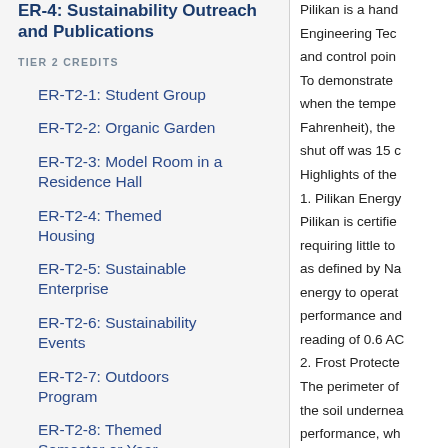ER-4: Sustainability Outreach and Publications
TIER 2 CREDITS
ER-T2-1: Student Group
ER-T2-2: Organic Garden
ER-T2-3: Model Room in a Residence Hall
ER-T2-4: Themed Housing
ER-T2-5: Sustainable Enterprise
ER-T2-6: Sustainability Events
ER-T2-7: Outdoors Program
ER-T2-8: Themed Semester or Year
Pilikan is a hand Engineering Tec and control poin To demonstrate when the tempe Fahrenheit), the shut off was 15 c Highlights of the 1. Pilikan Energy Pilikan is certifie requiring little to as defined by Na energy to operat performance and reading of 0.6 AC 2. Frost Protecte The perimeter of the soil undernea performance, wh 3. Double Stud W The walls in this separation elimi framing. 4. Extra Insulatio The entire house